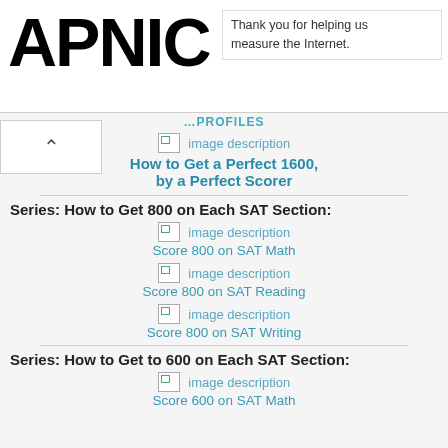[Figure (logo): APNIC logo in large bold black text]
Thank you for helping us measure the Internet.
image description
How to Get a Perfect 1600, by a Perfect Scorer
Series: How to Get 800 on Each SAT Section:
image description
Score 800 on SAT Math
image description
Score 800 on SAT Reading
image description
Score 800 on SAT Writing
Series: How to Get to 600 on Each SAT Section:
image description
Score 600 on SAT Math